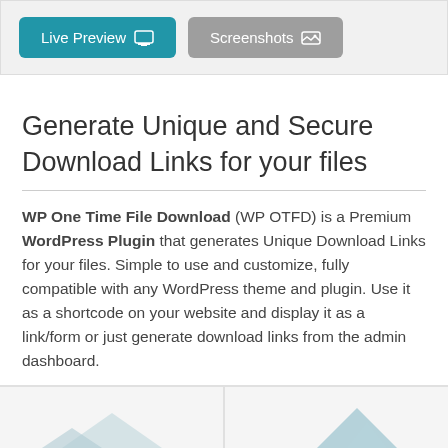[Figure (screenshot): Two buttons: 'Live Preview' (teal/blue) with a screen icon and 'Screenshots' (gray) with an image icon, on a light gray background panel]
Generate Unique and Secure Download Links for your files
WP One Time File Download (WP OTFD) is a Premium WordPress Plugin that generates Unique Download Links for your files. Simple to use and customize, fully compatible with any WordPress theme and plugin. Use it as a shortcode on your website and display it as a link/form or just generate download links from the admin dashboard.
Version 2.6.4 / Updated October 17th, 2021
[Figure (screenshot): Two partial screenshot thumbnails side by side at the bottom of the page, partially visible]